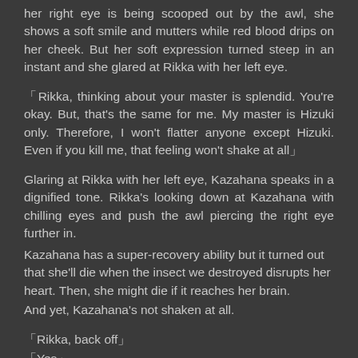her right eye is being scooped out by the awl, she shows a soft smile and mutters while red blood drips on her cheek. But her soft expression turned steep in an instant and she glared at Rikka with her left eye.
「Rikka, thinking about your master is splendid. You're okay. But, that's the same for me. My master is Hizuki only. Therefore, I won't flatter anyone except Hizuki. Even if you kill me, that feeling won't shake at all」
Glaring at Rikka with her left eye, Kazahana speaks in a dignified tone. Rikka's looking down at Kazahana with chilling eyes and push the awl piercing the right eye further in.
Kazahana has a super-recovery ability but it turned out that she'll die when the insect we destroyed disrupts her heart. Then, she might die if it reaches her brain.
And yet, Kazahana's not shaken at all.
「Rikka, back off」
「Yes」